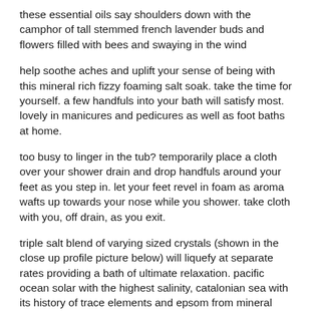these essential oils say shoulders down with the camphor of tall stemmed french lavender buds and flowers filled with bees and swaying in the wind
help soothe aches and uplift your sense of being with this mineral rich fizzy foaming salt soak. take the time for yourself. a few handfuls into your bath will satisfy most. lovely in manicures and pedicures as well as foot baths at home.
too busy to linger in the tub? temporarily place a cloth over your shower drain and drop handfuls around your feet as you step in. let your feet revel in foam as aroma wafts up towards your nose while you shower. take cloth with you, off drain, as you exit.
triple salt blend of varying sized crystals (shown in the close up profile picture below) will liquefy at separate rates providing a bath of ultimate relaxation. pacific ocean solar with the highest salinity, catalonian sea with its history of trace elements and epsom from mineral rock. tub time here we come!